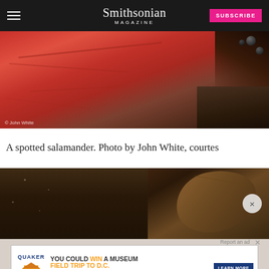Smithsonian Magazine
[Figure (photo): Close-up photo of a red autumn leaf with visible veins, and dark berries/soil visible in the upper right corner. Photo credit: © John White]
A spotted salamander. Photo by John White, courtes
[Figure (photo): Close-up photo of dark soil and organic material on autumn leaves, with a close button overlay]
[Figure (other): Advertisement: Quaker Museum Day - YOU COULD WIN A MUSEUM FIELD TRIP TO D.C. No purchase necessary. Ends 9/14/22. See website for details and official rules. LEARN MORE button.]